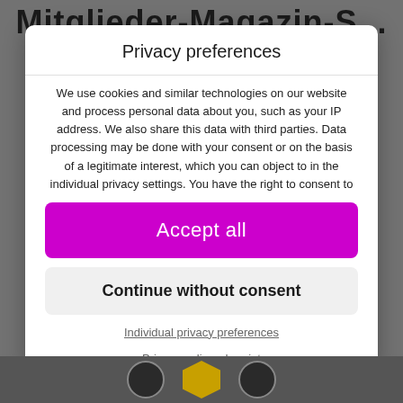Mitglieder-Magazin-S...
Privacy preferences
We use cookies and similar technologies on our website and process personal data about you, such as your IP address. We also share this data with third parties. Data processing may be done with your consent or on the basis of a legitimate interest, which you can object to in the individual privacy settings. You have the right to consent to
Accept all
Continue without consent
Individual privacy preferences
Privacy policy • Imprint
Cookie Consent with Real Cookie Banner